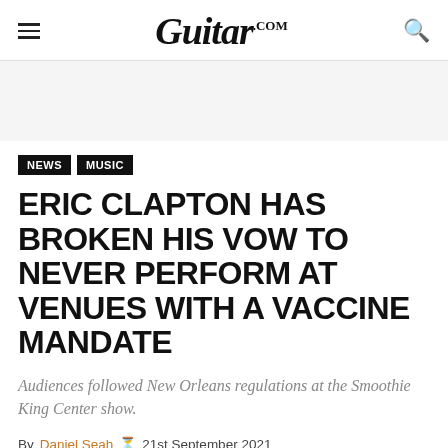Guitar.com
NEWS
MUSIC
ERIC CLAPTON HAS BROKEN HIS VOW TO NEVER PERFORM AT VENUES WITH A VACCINE MANDATE
Audiences followed New Orleans regulations at the Smoothie King Center show.
By Daniel Seah  21st September 2021